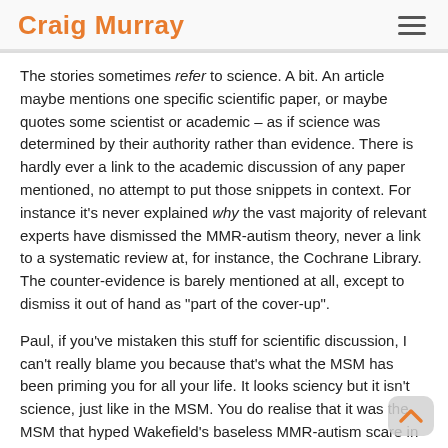Craig Murray
The stories sometimes refer to science. A bit. An article maybe mentions one specific scientific paper, or maybe quotes some scientist or academic – as if science was determined by their authority rather than evidence. There is hardly ever a link to the academic discussion of any paper mentioned, no attempt to put those snippets in context. For instance it's never explained why the vast majority of relevant experts have dismissed the MMR-autism theory, never a link to a systematic review at, for instance, the Cochrane Library. The counter-evidence is barely mentioned at all, except to dismiss it out of hand as "part of the cover-up".
Paul, if you've mistaken this stuff for scientific discussion, I can't really blame you because that's what the MSM has been priming you for all your life. It looks sciency but it isn't science, just like in the MSM. You do realise that it was the MSM that hyped Wakefield's baseless MMR-autism scare in the first place, using exactly the same techniques? About 3400 stories from 2001 to 2004, over 1200 stories in 2002 alone. The Telegraph pushed it